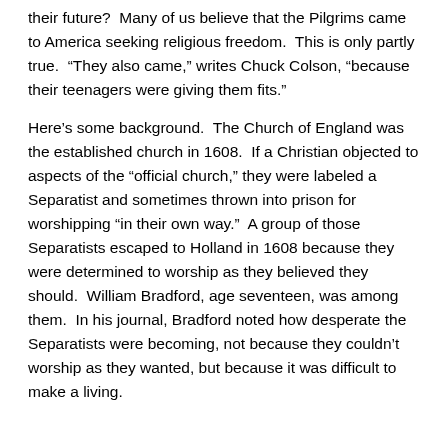their future?  Many of us believe that the Pilgrims came to America seeking religious freedom.  This is only partly true.  “They also came,” writes Chuck Colson, “because their teenagers were giving them fits.”
Here’s some background.  The Church of England was the established church in 1608.  If a Christian objected to aspects of the “official church,” they were labeled a Separatist and sometimes thrown into prison for worshipping “in their own way.”  A group of those Separatists escaped to Holland in 1608 because they were determined to worship as they believed they should.  William Bradford, age seventeen, was among them.  In his journal, Bradford noted how desperate the Separatists were becoming, not because they couldn’t worship as they wanted, but because it was difficult to make a living.